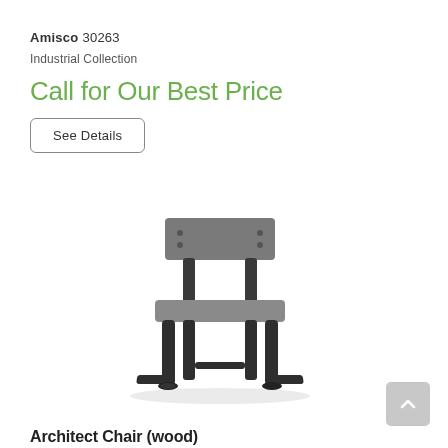Amisco 30263
Industrial Collection
Call for Our Best Price
See Details
[Figure (photo): A modern industrial-style dining chair with dark metal frame and grey upholstered seat and back, shown on white background. Product SKU Amisco 30263, Architect Chair (wood).]
Architect Chair (wood)